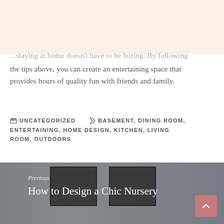...staying at home doesn't have to be boring. By following the tips above, you can create an entertaining space that provides hours of quality fun with friends and family.
UNCATEGORIZED   BASEMENT, DINING ROOM, ENTERTAINING, HOME DESIGN, KITCHEN, LIVING ROOM, OUTDOORS
[Figure (photo): Previous post navigation block with background photo of a nursery room, showing framed artwork. Text reads: Previous / How to Design a Chic Nursery. A rose/mauve back-to-top button is in the bottom right corner.]